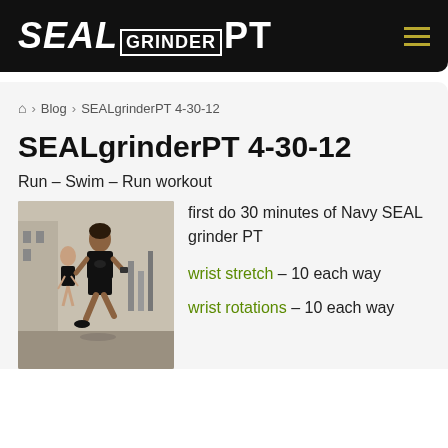SEAL GRINDER PT
🏠 > Blog > SEALgrinderPT 4-30-12
SEALgrinderPT 4-30-12
Run – Swim – Run workout
[Figure (photo): A female runner in athletic wear running on pavement, another runner in background]
first do 30 minutes of Navy SEAL grinder PT
wrist stretch – 10 each way
wrist rotations – 10 each way